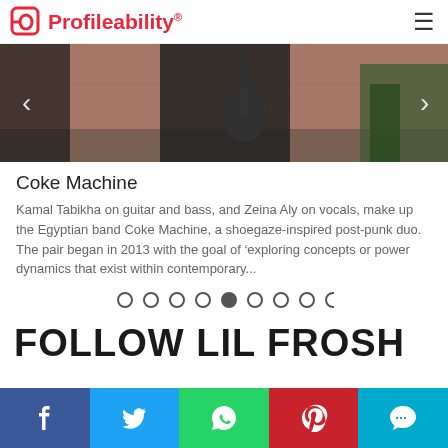Profileability
[Figure (photo): Person playing guitar outdoors, cropped view showing guitar and hands, urban background with pink wall and plants]
Coke Machine
Kamal Tabikha on guitar and bass, and Zeina Aly on vocals, make up the Egyptian band Coke Machine, a shoegaze-inspired post-punk duo. The pair began in 2013 with the goal of 'exploring concepts or power dynamics that exist within contemporary...
FOLLOW LIL FROSH
[Figure (infographic): Social media share bar with Facebook, Twitter, WhatsApp, Pinterest, and SMS buttons]